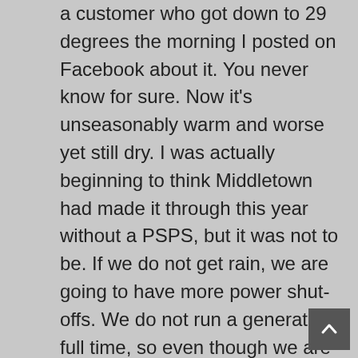a customer who got down to 29 degrees the morning I posted on Facebook about it. You never know for sure. Now it's unseasonably warm and worse yet still dry. I was actually beginning to think Middletown had made it through this year without a PSPS, but it was not to be. If we do not get rain, we are going to have more power shut-offs. We do not run a generator full time, so even though we are open, please remember to bring cash or check to purchase during shutoffs. Water your pots and landscape before the shut off because your electric irrigation valves will not come on. If you do not have a battery to hold the correct time and your run program, you might find yourself all off on your start and run times. Here at the nursery, we usually have to re-prime our pressure tank on our well/storage tank to get the water back on.